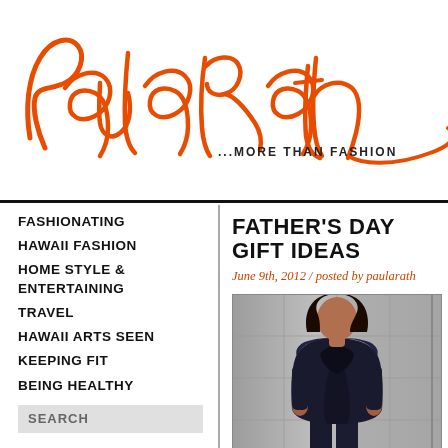[Figure (logo): Paula Rath cursive signature logo in orange/red color with tagline '...MORE THAN FASHION']
FASHIONATING
HAWAII FASHION
HOME STYLE & ENTERTAINING
TRAVEL
HAWAII ARTS SEEN
KEEPING FIT
BEING HEALTHY
FATHER'S DAY GIFT IDEAS
June 9th, 2012 / posted by paularath
[Figure (photo): Man in dark jacket/outfit standing against metallic background]